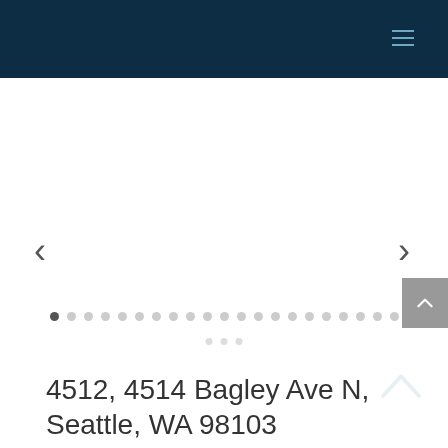[Figure (screenshot): Dark navy header bar with hamburger menu icon in top right]
[Figure (screenshot): Image carousel area with left and right navigation arrows, pagination dots, and scroll-to-top button]
4512, 4514 Bagley Ave N, Seattle, WA 98103